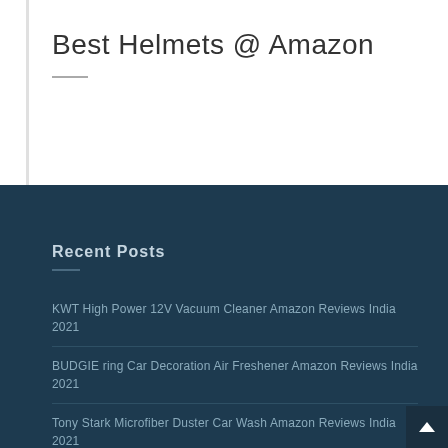Best Helmets @ Amazon
Recent Posts
KWT High Power 12V Vacuum Cleaner Amazon Reviews India 2021
BUDGIE ring Car Decoration Air Freshener Amazon Reviews India 2021
Tony Stark Microfiber Duster Car Wash Amazon Reviews India 2021
Car Window Pullover Sun Shade Pack of 2 Amazon Review India 2021